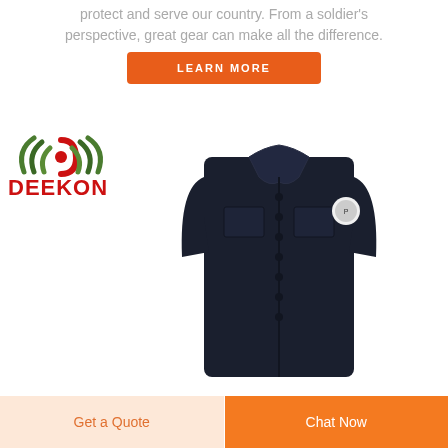protect and serve our country. From a soldier's perspective, great gear can make all the difference.
LEARN MORE
[Figure (logo): DEEKON brand logo with stylized arc/wave emblem in green and red above bold red DEEKON text]
[Figure (photo): Navy blue long-sleeve police/security uniform shirt with chest pockets, buttons, and a shoulder patch, displayed headlessly on white background]
Get a Quote
Chat Now